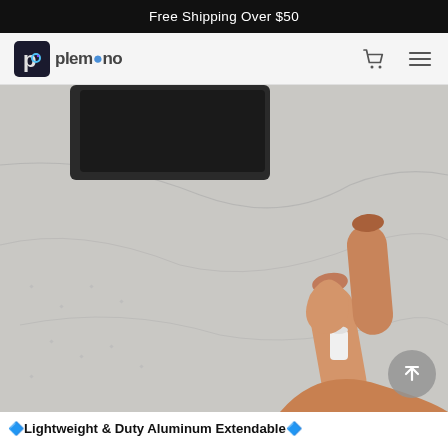Free Shipping Over $50
[Figure (logo): Plemono logo with stylized P icon and brand name 'plemono']
[Figure (photo): A hand placing or picking up a small white cylindrical piece on a marble/white surface with diamond painting dots. A dark phone or object visible in top-left corner.]
🔷Lightweight & Duty Aluminum Extendable🔷